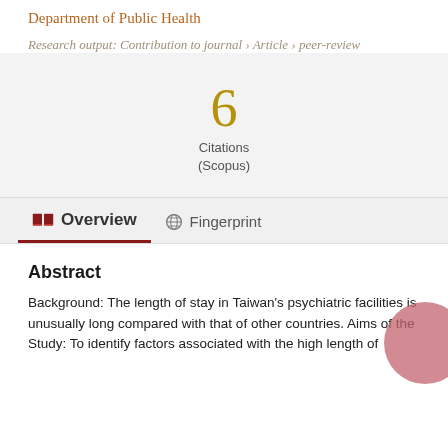Department of Public Health
Research output: Contribution to journal › Article › peer-review
6
Citations
(Scopus)
Overview   Fingerprint
Abstract
Background: The length of stay in Taiwan's psychiatric facilities is unusually long compared with that of other countries. Aims of the Study: To identify factors associated with the high length of